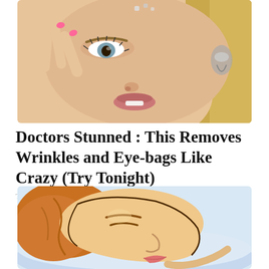[Figure (photo): Close-up photo of a blonde woman touching near her eye, wearing a silver earring and pink nail polish, with decorative gems near her brow.]
Doctors Stunned : This Removes Wrinkles and Eye-bags Like Crazy (Try Tonight)
Trending Stories
[Figure (illustration): Cartoon/illustration of a woman lying on her side on a white pillow, shown in profile view, sleeping. Drawn in an animated style with brown hair and skin tones.]